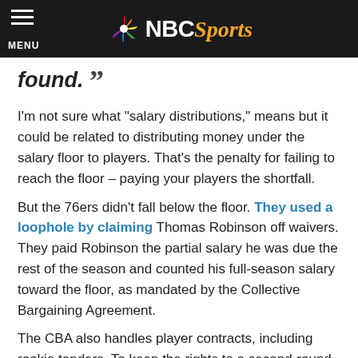NBC Sports
found. ””
I’m not sure what “salary distributions,” means but it could be related to distributing money under the salary floor to players. That’s the penalty for failing to reach the floor – paying your players the shortfall.
But the 76ers didn’t fall below the floor. They used a loophole by claiming Thomas Robinson off waivers. They paid Robinson the partial salary he was due the rest of the season and counted his full-season salary toward the floor, as mandated by the Collective Bargaining Agreement.
The CBA also handles player contracts, including rookie tenders. To keep the rights to a second-round pick, a team must offer him a one-year contract (in effect, unguaranteed for the minimum salary). Philadelphia has